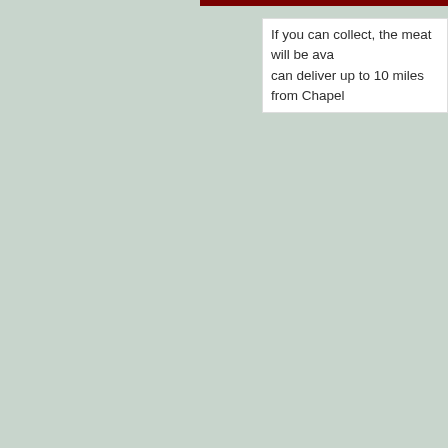If you can collect, the meat will be ava can deliver up to 10 miles from Chapel